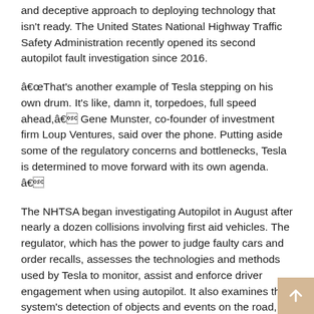and deceptive approach to deploying technology that isn't ready. The United States National Highway Traffic Safety Administration recently opened its second autopilot fault investigation since 2016.
“That’s another example of Tesla stepping on his own drum. It’s like, damn it, torpedoes, full speed ahead,” Gene Munster, co-founder of investment firm Loup Ventures, said over the phone. Putting aside some of the regulatory concerns and bottlenecks, Tesla is determined to move forward with its own agenda. ”
The NHTSA began investigating Autopilot in August after nearly a dozen collisions involving first aid vehicles. The regulator, which has the power to judge faulty cars and order recalls, assesses the technologies and methods used by Tesla to monitor, assist and enforce driver engagement when using autopilot. It also examines the system’s detection of objects and events on the road, and how it reacts.